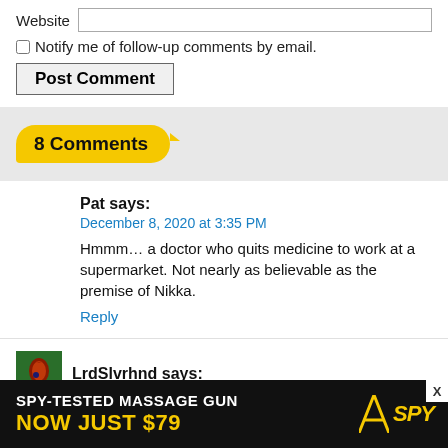Website [input field]
☐ Notify me of follow-up comments by email.
Post Comment
8 Comments
Pat says:
December 8, 2020 at 3:35 PM
Hmmm… a doctor who quits medicine to work at a supermarket. Not nearly as believable as the premise of Nikka.
Reply
LrdSlvrhnd says:
December 8, 2020 at 4:21 PM
Midlife crises and breakdowns happen
[Figure (advertisement): SPY advertisement banner: 'SPY-TESTED MASSAGE GUN NOW JUST $79' with SPY logo in yellow on dark background]